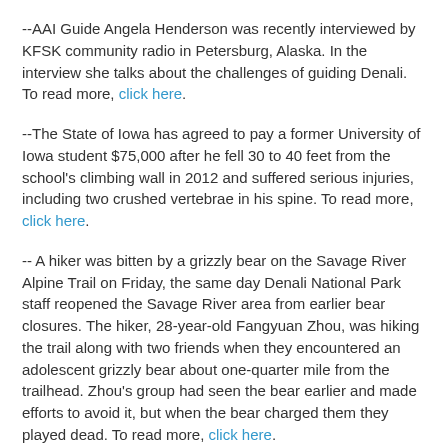--AAI Guide Angela Henderson was recently interviewed by KFSK community radio in Petersburg, Alaska. In the interview she talks about the challenges of guiding Denali. To read more, click here.
--The State of Iowa has agreed to pay a former University of Iowa student $75,000 after he fell 30 to 40 feet from the school's climbing wall in 2012 and suffered serious injuries, including two crushed vertebrae in his spine. To read more, click here.
-- A hiker was bitten by a grizzly bear on the Savage River Alpine Trail on Friday, the same day Denali National Park staff reopened the Savage River area from earlier bear closures. The hiker, 28-year-old Fangyuan Zhou, was hiking the trail along with two friends when they encountered an adolescent grizzly bear about one-quarter mile from the trailhead. Zhou's group had seen the bear earlier and made efforts to avoid it, but when the bear charged them they played dead. To read more, click here.